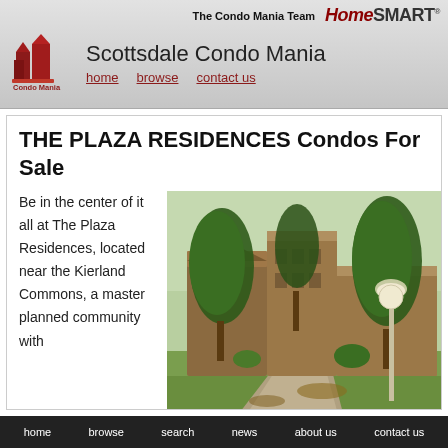The Condo Mania Team | HomeSmart
Scottsdale Condo Mania
THE PLAZA RESIDENCES Condos For Sale
Be in the center of it all at The Plaza Residences, located near the Kierland Commons, a master planned community with
[Figure (photo): Exterior photo of The Plaza Residences condo community showing brown multi-story buildings with trees and landscaping, walkways and a lamp post]
home  browse  search  news  about us  contact us